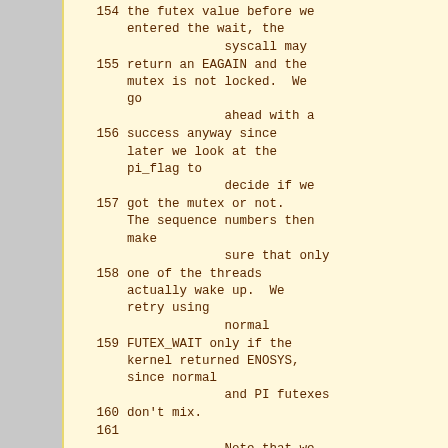154  the futex value before we entered the wait, the
                syscall may
155  return an EAGAIN and the mutex is not locked.  We go
                ahead with a
156  success anyway since later we look at the pi_flag to
                decide if we
157  got the mutex or not. The sequence numbers then make
                sure that only
158  one of the threads actually wake up.  We retry using
                normal
159  FUTEX_WAIT only if the kernel returned ENOSYS, since normal
                and PI futexes
160  don't mix.
161
                Note that we
162  don't check for EAGAIN specifically; we assume that the